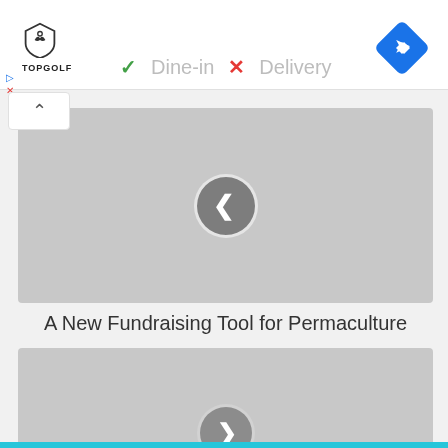[Figure (logo): Topgolf logo with shield icon and text TOPGOLF]
✓ Dine-in  ✗ Delivery
[Figure (screenshot): Gray image placeholder with left navigation arrow circle button]
A New Fundraising Tool for Permaculture
[Figure (screenshot): Gray image placeholder with right navigation arrow circle button, partially visible]
[Figure (other): Blue diamond navigation icon in top right corner]